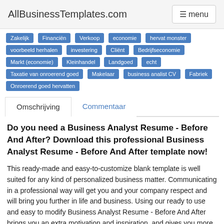AllBusinessTemplates.com   ☰ menu
Zakelijk
Financiën
Verkoop
economie
hervat monster
voorbeeld herhalen
investering
Cliënt
Bedrijfseconomie
Markt (economie)
Kleinhandel
Landgoed
echt
Taxatie van onroerend goed
Makelaar
business analist CV
Fabriek
Onroerend goed hervatten
Omschrijving
Commentaar
Do you need a Business Analyst Resume - Before And After? Download this professional Business Analyst Resume - Before And After template now!
This ready-made and easy-to-customize blank template is well suited for any kind of personalized business matter. Communicating in a professional way will get you and your company respect and will bring you further in life and business. Using our ready to use and easy to modify Business Analyst Resume - Before And After brings you an extra motivation and inspiration, and gives you more time to focus on important subjects in your personalized file.